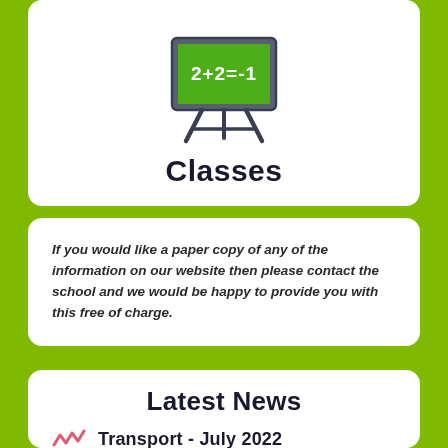[Figure (illustration): A chalkboard/easel icon with green board showing mathematical symbols (2+2=-1) in white]
Classes
If you would like a paper copy of any of the information on our website then please contact the school and we would be happy to provide you with this free of charge.
Latest News
Transport - July 2022